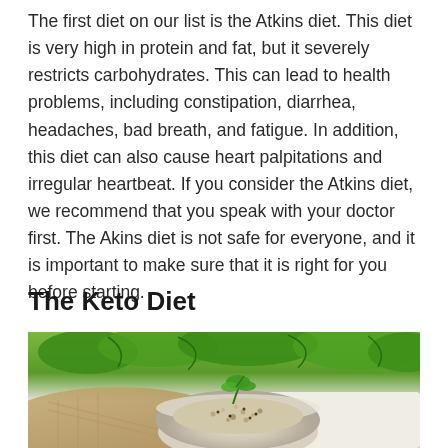The first diet on our list is the Atkins diet. This diet is very high in protein and fat, but it severely restricts carbohydrates. This can lead to health problems, including constipation, diarrhea, headaches, bad breath, and fatigue. In addition, this diet can also cause heart palpitations and irregular heartbeat. If you consider the Atkins diet, we recommend that you speak with your doctor first. The Akins diet is not safe for everyone, and it is important to make sure that it is right for you before starting.
The Keto Diet
[Figure (photo): A bowl of grain or cauliflower rice topped with herbs/parsley, placed on a light surface with fresh green parsley and herbs in the background, and a brown cloth/burlap visible.]